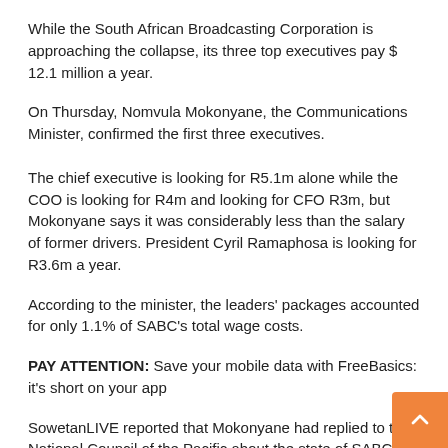While the South African Broadcasting Corporation is approaching the collapse, its three top executives pay $ 12.1 million a year.
On Thursday, Nomvula Mokonyane, the Communications Minister, confirmed the first three executives.
The chief executive is looking for R5.1m alone while the COO is looking for R4m and looking for CFO R3m, but Mokonyane says it was considerably less than the salary of former drivers. President Cyril Ramaphosa is looking for R3.6m a year.
According to the minister, the leaders' packages accounted for only 1.1% of SABC's total wage costs.
PAY ATTENTION: Save your mobile data with FreeBasics: it's short on your app
SowetanLIVE reported that Mokonyane had replied to the National Council of the Pacific about the state of SABC.